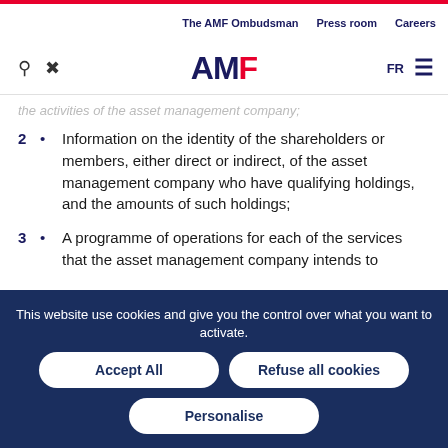The AMF Ombudsman  Press room  Careers
[Figure (logo): AMF logo with search and tool icons, FR language toggle and hamburger menu]
the activities of the asset management company;
2 • Information on the identity of the shareholders or members, either direct or indirect, of the asset management company who have qualifying holdings, and the amounts of such holdings;
3 • A programme of operations for each of the services that the asset management company intends to
This website use cookies and give you the control over what you want to activate.